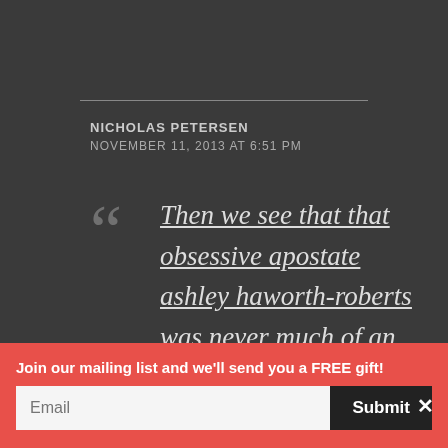NICHOLAS PETERSEN
NOVEMBER 11, 2013 AT 6:51 PM
Then we see that that obsessive apostate ashley haworth-roberts was never much of an evangelical, because by
Join our mailing list and we'll send you a FREE gift!